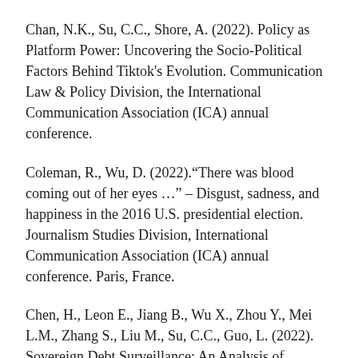Chan, N.K., Su, C.C., Shore, A. (2022). Policy as Platform Power: Uncovering the Socio-Political Factors Behind Tiktok's Evolution. Communication Law & Policy Division, the International Communication Association (ICA) annual conference.
Coleman, R., Wu, D. (2022)."There was blood coming out of her eyes …" – Disgust, sadness, and happiness in the 2016 U.S. presidential election. Journalism Studies Division, International Communication Association (ICA) annual conference. Paris, France.
Chen, H., Leon E., Jiang B., Wu X., Zhou Y., Mei L.M., Zhang S., Liu M., Su, C.C., Guo, L. (2022). Sovereign Debt Surveillance: An Analysis of Sovereign Debt Twitter Discussions During the COVID-19